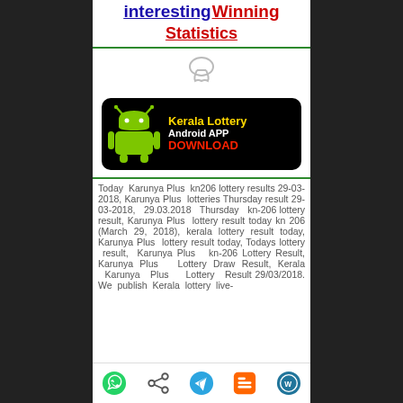interesting Winning Statistics
[Figure (screenshot): Kerala Lottery Android App Download banner with Android robot icon, yellow 'Kerala Lottery' text, white 'Android APP' text, red 'DOWNLOAD' text on black background]
Today Karunya Plus kn206 lottery results 29-03-2018, Karunya Plus lotteries Thursday result 29-03-2018, 29.03.2018 Thursday kn-206 lottery result, Karunya Plus lottery result today kn 206 (March 29, 2018), kerala lottery result today, Karunya Plus lottery result today, Todays lottery result, Karunya Plus kn-206 Lottery Result, Karunya Plus Lottery Draw Result, Kerala Karunya Plus Lottery Result 29/03/2018. We publish Kerala lottery live-
[Figure (infographic): Bottom navigation bar with WhatsApp, Share, Telegram, Blogger, and WordPress icons]